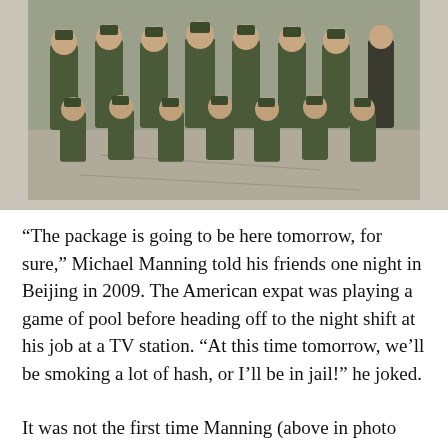[Figure (photo): Group photo of approximately 12 men in olive green military-style uniforms with caps, posing in two rows (back row standing, front row crouching) on a plaza with stone paving. The setting appears to be an outdoor public square, likely Tiananmen Square in Beijing.]
“The package is going to be here tomorrow, for sure,” Michael Manning told his friends one night in Beijing in 2009. The American expat was playing a game of pool before heading off to the night shift at his job at a TV station. “At this time tomorrow, we’ll be smoking a lot of hash, or I’ll be in jail!” he joked.
It was not the first time Manning (above in photo